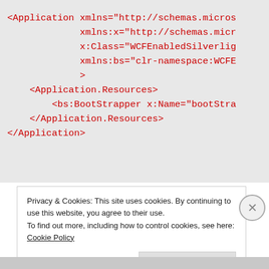[Figure (screenshot): Code block showing XML markup with Application element, xmlns attributes, Application.Resources, bs:BootStrapper, and closing tags in red monospace font on gray background]
Privacy & Cookies: This site uses cookies. By continuing to use this website, you agree to their use.
To find out more, including how to control cookies, see here: Cookie Policy
Close and accept